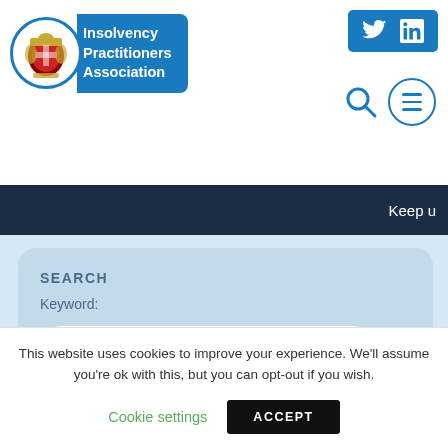[Figure (logo): Insolvency Practitioners Association logo with coat of arms in blue circle and blue badge with white text]
[Figure (screenshot): Twitter and LinkedIn social media icons in blue rectangle, top right]
[Figure (screenshot): Search magnifying glass icon and hamburger menu circle icon]
Keep u
SEARCH
Keyword:
keyword
This website uses cookies to improve your experience. We'll assume you're ok with this, but you can opt-out if you wish.
Cookie settings
ACCEPT